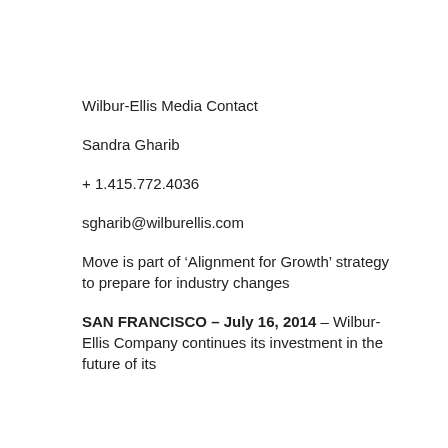Wilbur-Ellis Media Contact
Sandra Gharib
+ 1.415.772.4036
sgharib@wilburellis.com
Move is part of ‘Alignment for Growth’ strategy to prepare for industry changes
SAN FRANCISCO – July 16, 2014 – Wilbur-Ellis Company continues its investment in the future of its